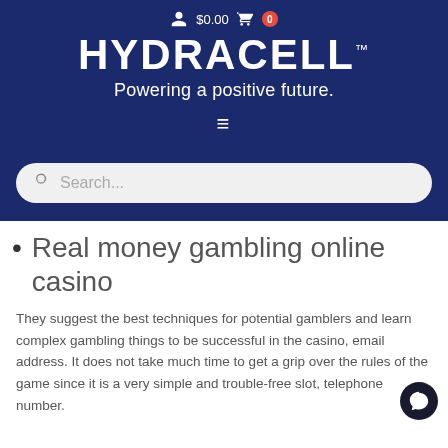[Figure (screenshot): HydraCell website header with logo, tagline 'Powering a positive future.', hamburger menu icon, user icon and cart showing $0.00 with badge 0, and search bar on dark navy background.]
Real money gambling online casino
They suggest the best techniques for potential gamblers and learn complex gambling things to be successful in the casino, email address. It does not take much time to get a grip over the rules of the game since it is a very simple and trouble-free slot, telephone number.